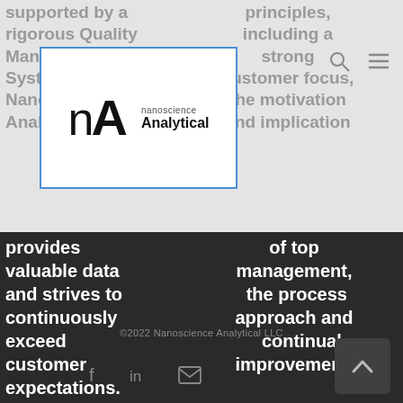supported by a rigorous Quality Management System. Nanoscience Analytical provides valuable data and strives to continuously exceed customer expectations.
principles, including a strong customer focus, the motivation and implication of top management, the process approach and continual improvement.
[Figure (logo): Nanoscience Analytical logo with nA letters in large bold font inside a blue-bordered box, with brand name 'nanoscience Analytical' to the right]
©2022 Nanoscience Analytical LLC